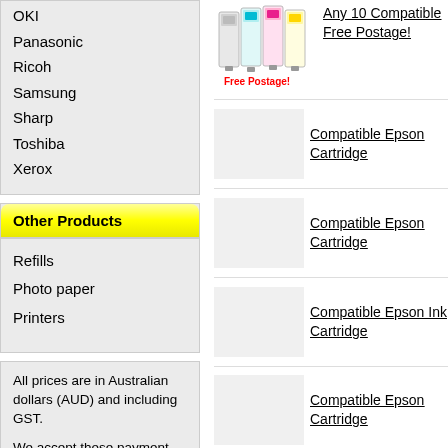OKI
Panasonic
Ricoh
Samsung
Sharp
Toshiba
Xerox
Other Products
Refills
Photo paper
Printers
All prices are in Australian dollars (AUD) and including GST.

We accept these payment methods:
[Figure (illustration): Image of multiple ink cartridges (cyan, magenta, yellow) with 'Free Postage!' text in red below]
Any 10 Compatible Free Postage!
Compatible Epson Cartridge
Compatible Epson Cartridge
Compatible Epson Ink Cartridge
Compatible Epson Cartridge